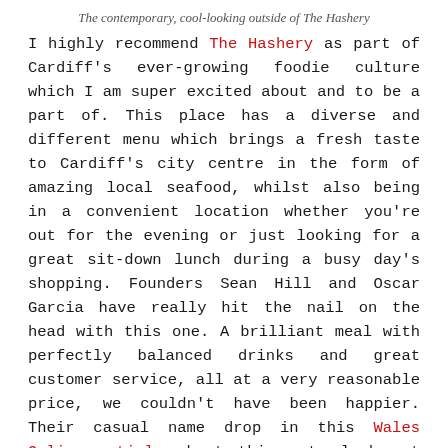The contemporary, cool-looking outside of The Hashery
I highly recommend The Hashery as part of Cardiff's ever-growing foodie culture which I am super excited about and to be a part of. This place has a diverse and different menu which brings a fresh taste to Cardiff's city centre in the form of amazing local seafood, whilst also being in a convenient location whether you're out for the evening or just looking for a great sit-down lunch during a busy day's shopping. Founders Sean Hill and Oscar Garcia have really hit the nail on the head with this one. A brilliant meal with perfectly balanced drinks and great customer service, all at a very reasonable price, we couldn't have been happier. Their casual name drop in this Wales Online article about things to look out for in 2017 is also kind of a big deal! So go on, dash to The Hashery and see what you think. I promise you won't be disappointed; I can't wait to go back.